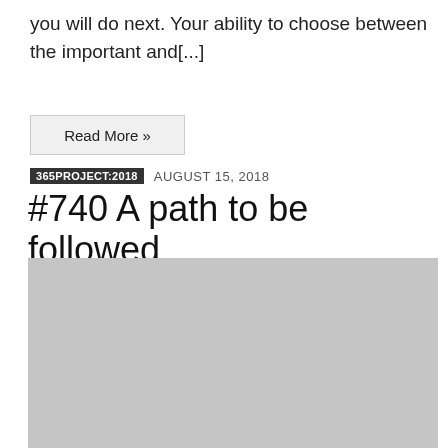you will do next. Your ability to choose between the important and[...]
Read More »
365PROJECT:2018   AUGUST 15, 2018
#740 A path to be followed
[Figure (photo): Large grey placeholder image representing a photo for the blog post '#740 A path to be followed']